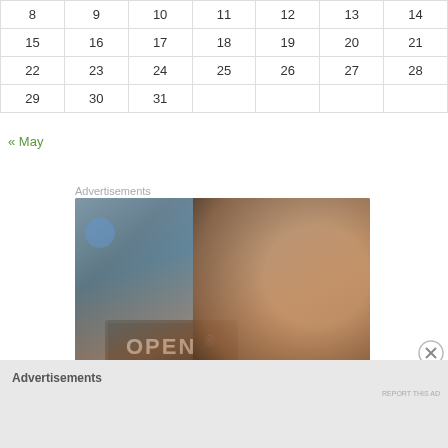| 8 | 9 | 10 | 11 | 12 | 13 | 14 |
| 15 | 16 | 17 | 18 | 19 | 20 | 21 |
| 22 | 23 | 24 | 25 | 26 | 27 | 28 |
| 29 | 30 | 31 |  |  |  |  |
« May
Advertisements
[Figure (photo): Woman smiling and holding an OPEN sign at a store door]
Advertisements